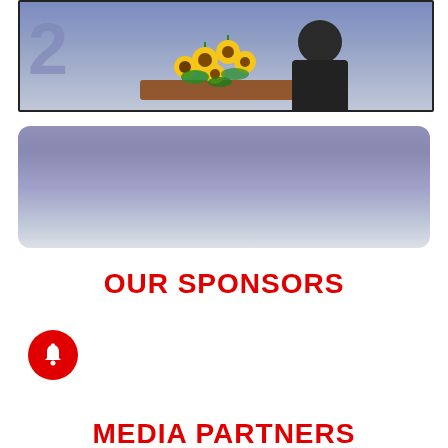[Figure (photo): Photo of a person in a dark suit standing behind a podium with a large bouquet of sunflowers, against a blue/purple background with the number 2 partially visible on the left side.]
[Figure (other): A rounded rectangle with a purple/blue gradient background, appearing to be a video or image placeholder.]
OUR SPONSORS
[Figure (other): A red circular button with a white bell/notification icon.]
[Figure (other): Two rows of pagination dots, the first dot in the top row is dark/active, the rest are gray.]
MEDIA PARTNERS